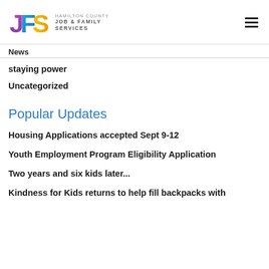[Figure (logo): Hamilton County Job & Family Services (JFS) colorful logo with J in purple, F in blue/teal, S in yellow/gold, followed by text HAMILTON COUNTY JOB & FAMILY SERVICES]
News
staying power
Uncategorized
Popular Updates
Housing Applications accepted Sept 9-12
Youth Employment Program Eligibility Application
Two years and six kids later...
Kindness for Kids returns to help fill backpacks with